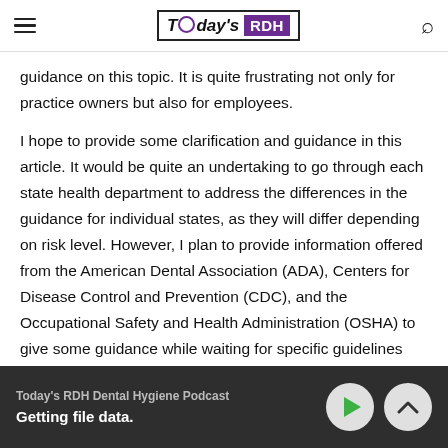Today's RDH
guidance on this topic. It is quite frustrating not only for practice owners but also for employees.
I hope to provide some clarification and guidance in this article. It would be quite an undertaking to go through each state health department to address the differences in the guidance for individual states, as they will differ depending on risk level. However, I plan to provide information offered from the American Dental Association (ADA), Centers for Disease Control and Prevention (CDC), and the Occupational Safety and Health Administration (OSHA) to give some guidance while waiting for specific guidelines from your
Today's RDH Dental Hygiene Podcast
Getting file data.